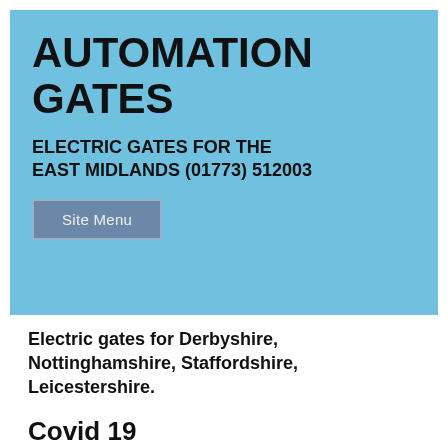AUTOMATION GATES
ELECTRIC GATES FOR THE EAST MIDLANDS (01773) 512003
Site Menu
Electric gates for Derbyshire, Nottinghamshire, Staffordshire, Leicestershire.
Covid 19